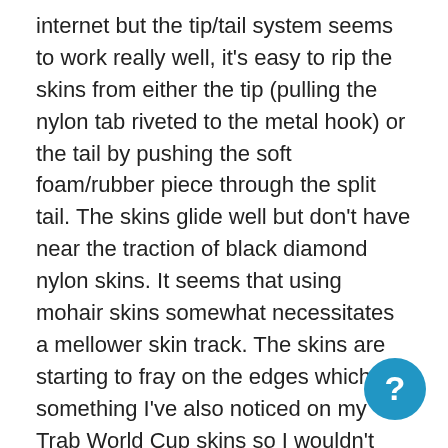internet but the tip/tail system seems to work really well, it's easy to rip the skins from either the tip (pulling the nylon tab riveted to the metal hook) or the tail by pushing the soft foam/rubber piece through the split tail. The skins glide well but don't have near the traction of black diamond nylon skins. It seems that using mohair skins somewhat necessitates a mellower skin track. The skins are starting to fray on the edges which is something I've also noticed on my Trab World Cup skins so I wouldn't say they're the most durable choice. The glue has held up better than any other European glue skin we've used (hagan, dynafit/pomoca). Overall if you h Trab skis and want a perfectly matched skin I'd